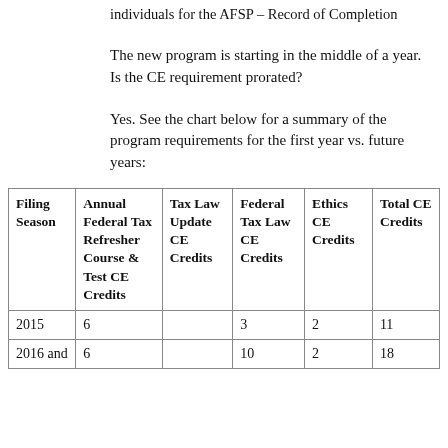individuals for the AFSP – Record of Completion
The new program is starting in the middle of a year. Is the CE requirement prorated?
Yes. See the chart below for a summary of the program requirements for the first year vs. future years:
| Filing Season | Annual Federal Tax Refresher Course & Test CE Credits | Tax Law Update CE Credits | Federal Tax Law CE Credits | Ethics CE Credits | Total CE Credits |
| --- | --- | --- | --- | --- | --- |
| 2015 | 6 |  | 3 | 2 | 11 |
| 2016 and | 6 |  | 10 | 2 | 18 |